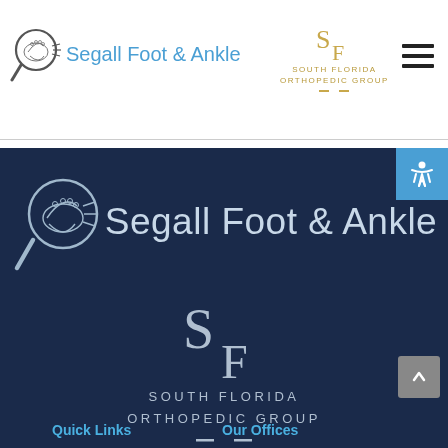[Figure (logo): Segall Foot & Ankle logo with magnifying glass icon in header]
[Figure (logo): South Florida Orthopedic Group logo with SF monogram in header]
[Figure (logo): Segall Foot & Ankle large logo with magnifying glass icon on dark background]
[Figure (logo): South Florida Orthopedic Group large logo with SF monogram on dark background]
Quick Links
Our Offices